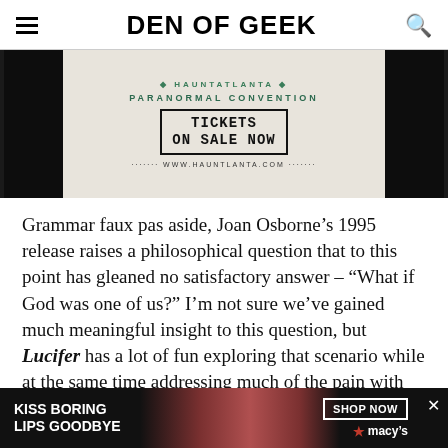DEN OF GEEK
[Figure (photo): Banner advertisement for HauntAtlanta paranormal convention showing 'TICKETS ON SALE NOW' and website www.hauntlanta.com]
Grammar faux pas aside, Joan Osborne’s 1995 release raises a philosophical question that to this point has gleaned no satisfactory answer – “What if God was one of us?” I’m not sure we’ve gained much meaningful insight to this question, but Lucifer has a lot of fun exploring that scenario while at the same time addressing much of the pain with which so many of the characters continue to struggle. “Resting Devil Face” takes a multi-layered approach to examine the emotional cost inherent in most
[Figure (photo): Macy's advertisement: KISS BORING LIPS GOODBYE, showing model with red lips, SHOP NOW button, and Macy's star logo]